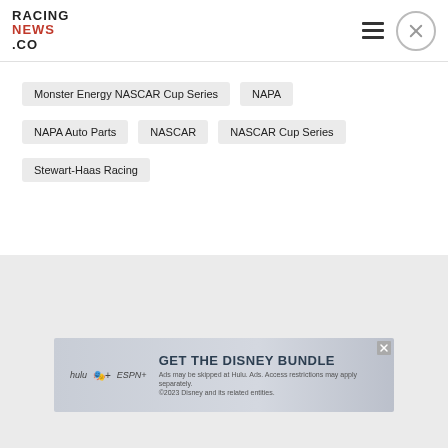RACING NEWS.CO
Monster Energy NASCAR Cup Series
NAPA
NAPA Auto Parts
NASCAR
NASCAR Cup Series
Stewart-Haas Racing
[Figure (screenshot): Advertisement banner for Disney Bundle featuring Hulu, Disney+, and ESPN+ logos with text 'GET THE DISNEY BUNDLE']